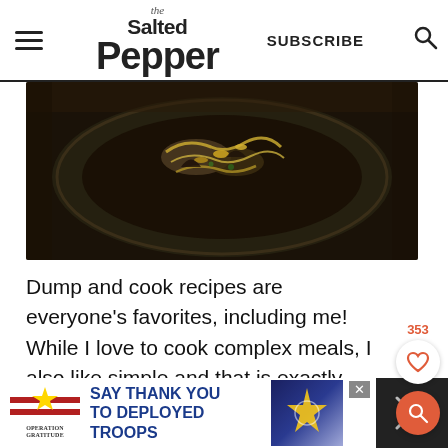the Salted Pepper | SUBSCRIBE
[Figure (photo): Food dish on a dark round plate with noodles and garnishes, photographed on a dark background]
Dump and cook recipes are everyone's favorites, including me! While I love to cook complex meals, I also like simple and that is exactly what this recipe is. SIMPLE!
[Figure (infographic): Advertisement banner: Operation Gratitude - SAY THANK YOU TO DEPLOYED TROOPS]
[Figure (other): Like counter showing 353 with heart icon and search button]